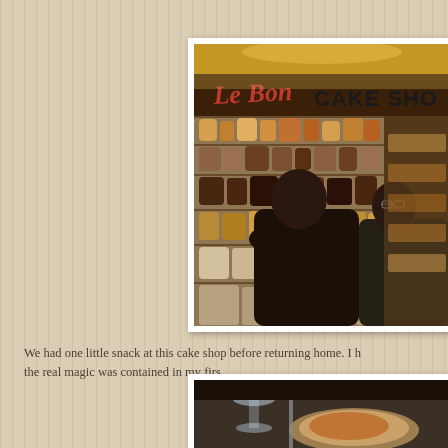[Figure (photo): Photo of Le Bon Cake Shop interior with glass display cases filled with pastries and baked goods, two people viewed from behind looking at the display]
We had one little snack at this cake shop before returning home. I h... the real magic was contained in my firs...
[Figure (photo): Partial photo showing a table setting with a glass and food items]